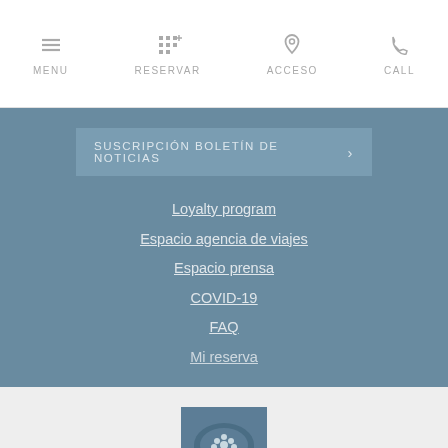MENU  RESERVAR  ACCESO  CALL
SUSCRIPCIÓN BOLETÍN DE NOTICIAS ❯
Loyalty program
Espacio agencia de viajes
Espacio prensa
COVID-19
FAQ
Mi reserva
[Figure (logo): Esprit de France Hotels & Demeures logo with tree icon in blue square]
By continuing on our site, you accept the use of cookies. Learn more  Ok